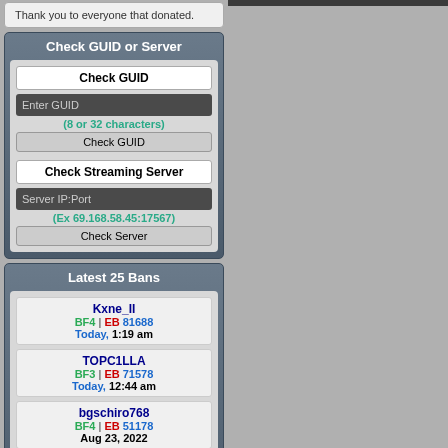Thank you to everyone that donated.
Check GUID or Server
Check GUID
Enter GUID
(8 or 32 characters)
Check GUID
Check Streaming Server
Server IP:Port
(Ex 69.168.58.45:17567)
Check Server
Latest 25 Bans
Kxne_II
BF4 | EB 81688
Today, 1:19 am
TOPC1LLA
BF3 | EB 71578
Today, 12:44 am
bgschiro768
BF4 | EB 51178
Aug 23, 2022
Dekkers_Forever
BF3 | EB 71570
Aug 23, 2022